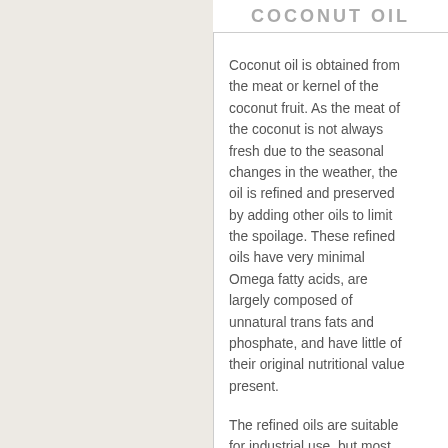COCONUT OIL
Coconut oil is obtained from the meat or kernel of the coconut fruit. As the meat of the coconut is not always fresh due to the seasonal changes in the weather, the oil is refined and preserved by adding other oils to limit the spoilage. These refined oils have very minimal Omega fatty acids, are largely composed of unnatural trans fats and phosphate, and have little of their original nutritional value present.
The refined oils are suitable for industrial use, but most